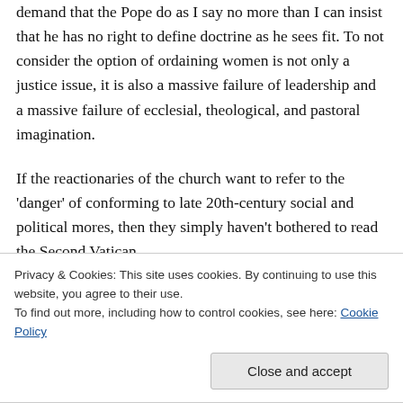demand that the Pope do as I say no more than I can insist that he has no right to define doctrine as he sees fit. To not consider the option of ordaining women is not only a justice issue, it is also a massive failure of leadership and a massive failure of ecclesial, theological, and pastoral imagination.

If the reactionaries of the church want to refer to the 'danger' of conforming to late 20th-century social and political mores, then they simply haven't bothered to read the Second Vatican
Privacy & Cookies: This site uses cookies. By continuing to use this website, you agree to their use.
To find out more, including how to control cookies, see here: Cookie Policy
All of these issues are simply a matter of time